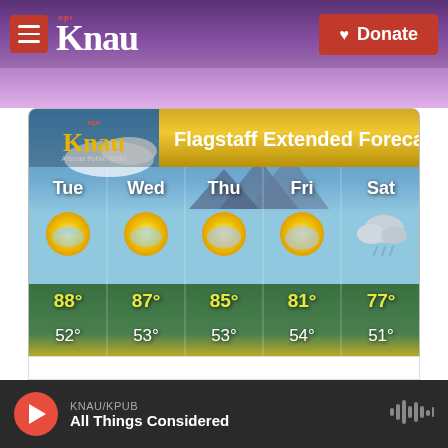[Figure (screenshot): KNAU NPR radio station website screenshot showing Flagstaff Extended Forecast weather widget with 5-day forecast (Tue-Sat), temperatures, and audio player bar at bottom.]
KNAU/KPUB — All Things Considered